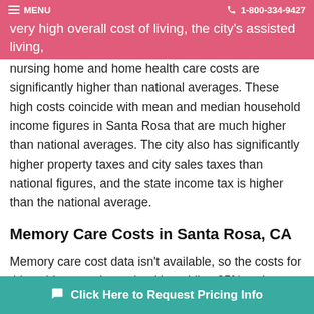MENU  1-800-334-9427
very high overall cost of living, the city's assisted living, nursing home and home health care costs are significantly higher than national averages. These high costs coincide with mean and median household income figures in Santa Rosa that are much higher than national averages. The city also has significantly higher property taxes and city sales taxes than national figures, and the state income tax is higher than the national average.
Memory Care Costs in Santa Rosa, CA
Memory care cost data isn't available, so the costs for this guide were determined by adding 25% to the assisted living costs from the Genworth 2020 Cost of Care Survey. Th... 2...
Click Here to Request Pricing Info